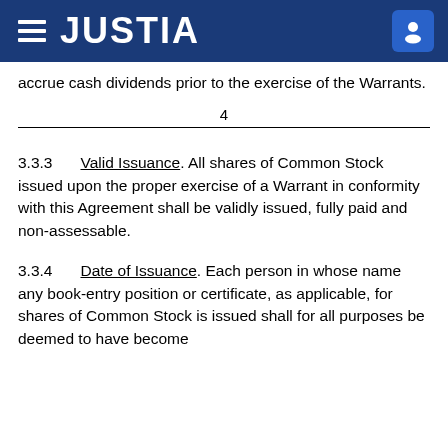JUSTIA
accrue cash dividends prior to the exercise of the Warrants.
4
3.3.3    Valid Issuance. All shares of Common Stock issued upon the proper exercise of a Warrant in conformity with this Agreement shall be validly issued, fully paid and non-assessable.
3.3.4    Date of Issuance. Each person in whose name any book-entry position or certificate, as applicable, for shares of Common Stock is issued shall for all purposes be deemed to have become